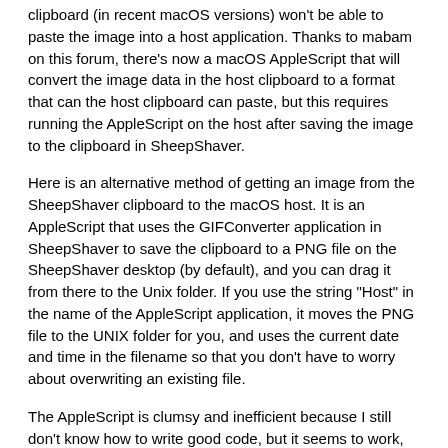clipboard (in recent macOS versions) won't be able to paste the image into a host application. Thanks to mabam on this forum, there's now a macOS AppleScript that will convert the image data in the host clipboard to a format that can the host clipboard can paste, but this requires running the AppleScript on the host after saving the image to the clipboard in SheepShaver.
Here is an alternative method of getting an image from the SheepShaver clipboard to the macOS host. It is an AppleScript that uses the GIFConverter application in SheepShaver to save the clipboard to a PNG file on the SheepShaver desktop (by default), and you can drag it from there to the Unix folder. If you use the string "Host" in the name of the AppleScript application, it moves the PNG file to the UNIX folder for you, and uses the current date and time in the filename so that you don't have to worry about overwriting an existing file.
The AppleScript is clumsy and inefficient because I still don't know how to write good code, but it seems to work, and someone may find it useful. You can find GIFConverter (together with a registration code) on Macintosh Garden; install, run it, and enter the registration code before trying to use this script.
CODE: SELECT ALL
-- Clip Image to PNG
-- uses GIFConverter to save an image in the clipboard